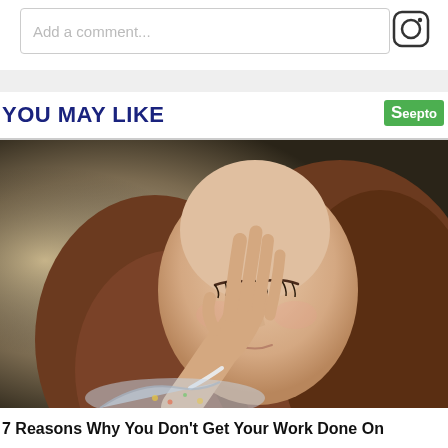Add a comment...
YOU MAY LIKE
[Figure (photo): Young woman with long auburn hair holding her hand to her face with eyes closed, wearing a floral top, looking stressed or tired.]
7 Reasons Why You Don't Get Your Work Done On